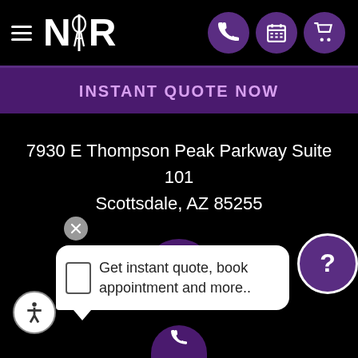[Figure (screenshot): Website header with hamburger menu, NKR logo, and three purple icon circles (phone, calendar, cart) on black background]
INSTANT QUOTE NOW
7930 E Thompson Peak Parkway Suite 101
Scottsdale, AZ 85255
[Figure (other): Purple phone icon circle in center of black area]
Get instant quote, book appointment and more..
[Figure (other): Purple help/question mark button on right, accessibility icon on bottom left, partial phone circle at bottom center]